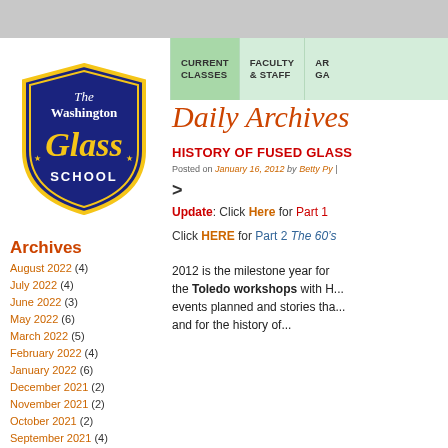[Figure (logo): The Washington Glass School shield logo with ornate lettering]
CURRENT CLASSES | FACULTY & STAFF | AR... GA...
Daily Archives
HISTORY OF FUSED GLASS
Posted on January 16, 2012 by Betty Py |
>
Update: Click Here for Part 1
Click HERE for Part 2 The 60's
2012 is the milestone year for the Toledo workshops with H... events planned and stories tha... and for the history of...
Archives
August 2022 (4)
July 2022 (4)
June 2022 (3)
May 2022 (6)
March 2022 (5)
February 2022 (4)
January 2022 (6)
December 2021 (2)
November 2021 (2)
October 2021 (2)
September 2021 (4)
August 2021 (3)
July 2021 (3)